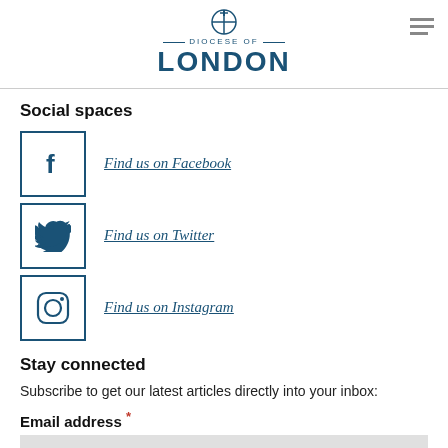Diocese of London
Social spaces
Find us on Facebook
Find us on Twitter
Find us on Instagram
Stay connected
Subscribe to get our latest articles directly into your inbox:
Email address *